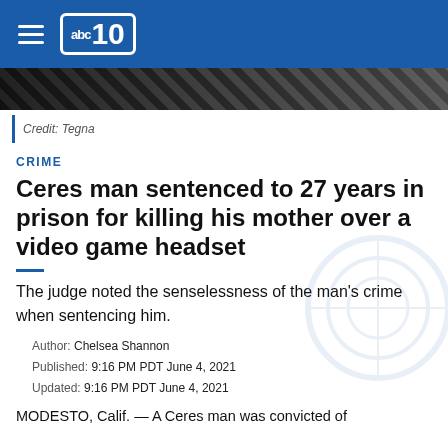[Figure (screenshot): ABC10 news website header with blue navigation bar showing hamburger menu icon and abc10 logo]
[Figure (photo): Dark image strip with diagonal striped pattern, partial news photo]
Credit: Tegna
CRIME
Ceres man sentenced to 27 years in prison for killing his mother over a video game headset
The judge noted the senselessness of the man's crime when sentencing him.
Author: Chelsea Shannon
Published: 9:16 PM PDT June 4, 2021
Updated: 9:16 PM PDT June 4, 2021
MODESTO, Calif. — A Ceres man was convicted of